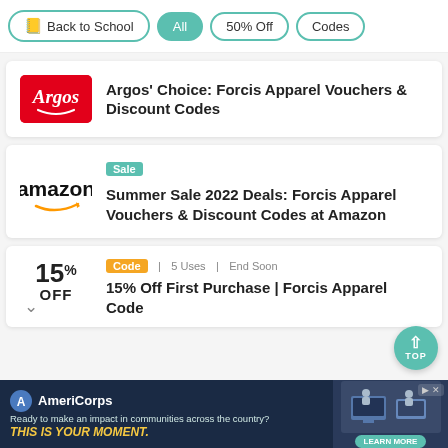Back to School | All | 50% Off | Codes
Argos' Choice: Forcis Apparel Vouchers & Discount Codes
Sale
Summer Sale 2022 Deals: Forcis Apparel Vouchers & Discount Codes at Amazon
Code | 5 Uses | End Soon
15% Off First Purchase | Forcis Apparel Code
[Figure (infographic): AmeriCorps advertisement banner: 'Ready to make an impact in communities across the country? THIS IS YOUR MOMENT.' with LEARN MORE button and photo of people at computers]